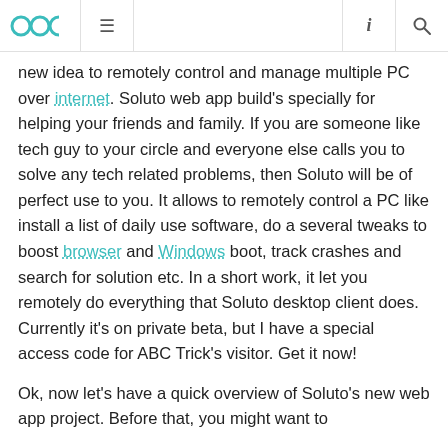OOC logo, hamburger menu, info icon, search icon
new idea to remotely control and manage multiple PC over internet. Soluto web app build's specially for helping your friends and family. If you are someone like tech guy to your circle and everyone else calls you to solve any tech related problems, then Soluto will be of perfect use to you. It allows to remotely control a PC like install a list of daily use software, do a several tweaks to boost browser and Windows boot, track crashes and search for solution etc. In a short work, it let you remotely do everything that Soluto desktop client does. Currently it's on private beta, but I have a special access code for ABC Trick's visitor. Get it now!
Ok, now let's have a quick overview of Soluto's new web app project. Before that, you might want to